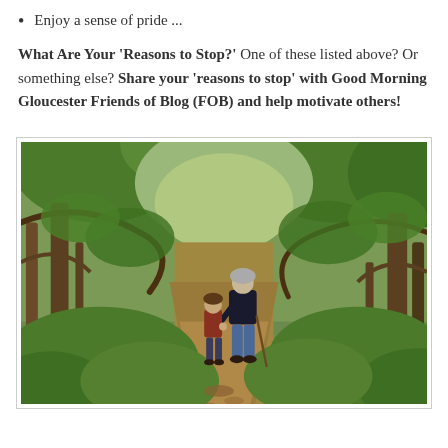Enjoy a sense of pride ...
What Are Your 'Reasons to Stop?' One of these listed above? Or something else? Share your 'reasons to stop' with Good Morning Gloucester Friends of Blog (FOB) and help motivate others!
[Figure (photo): An elderly person and a young child walking hand-in-hand along a woodland path surrounded by green trees and foliage, viewed from behind.]